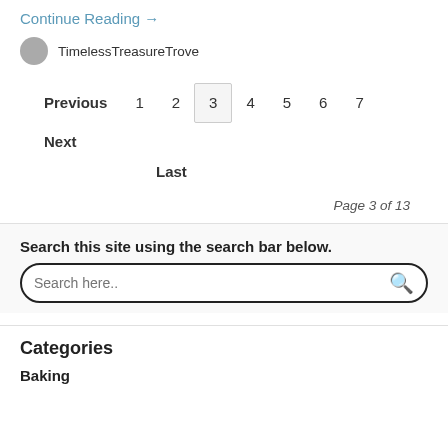Continue Reading →
TimelessTreasureTrove
Previous  1  2  3  4  5  6  7  Next
Last
Page 3 of 13
Search this site using the search bar below.
Search here..
Categories
Baking